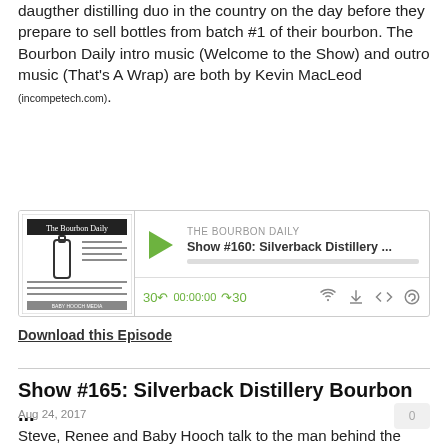daugther distilling duo in the country on the day before they prepare to sell bottles from batch #1 of their bourbon. The Bourbon Daily intro music (Welcome to the Show) and outro music (That's A Wrap) are both by Kevin MacLeod (incompetech.com).
[Figure (screenshot): Podcast player widget for The Bourbon Daily, Show #160: Silverback Distillery ..., with play button, progress bar, and playback controls showing 00:00:00]
Download this Episode
Show #165: Silverback Distillery Bourbon ...
Aug 24, 2017
Steve, Renee and Baby Hooch talk to the man behind the scenes at Silverback Distillery, the “silverback” himself… Denver Riggleman. The Bourbon Daily intro music (Welcome to the Show) and outro music (That’s A Wrap) are both by Kevin MacLeod (incompetech.com).